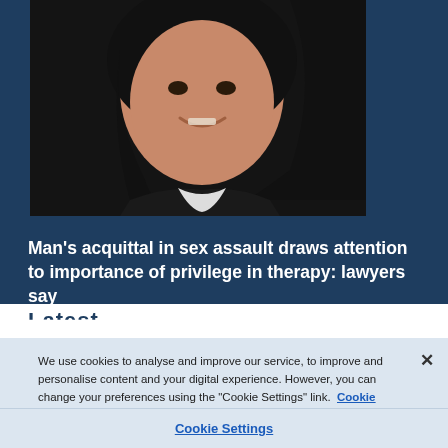[Figure (photo): Close-up portrait photo of a woman with dark hair, smiling, against a dark background. Photo is positioned in the top portion of a dark blue article card.]
Man's acquittal in sex assault draws attention to importance of privilege in therapy: lawyers say
Latest
We use cookies to analyse and improve our service, to improve and personalise content and your digital experience. However, you can change your preferences using the "Cookie Settings" link.  Cookie Policy.
Cookie Settings